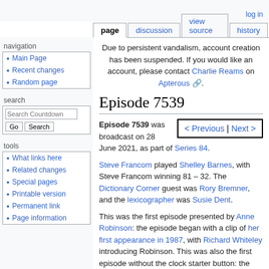log in | page | discussion | view source | history
Due to persistent vandalism, account creation has been suspended. If you would like an account, please contact Charlie Reams on Apterous.
Episode 7539
Episode 7539 was broadcast on 28 June 2021, as part of Series 84.
< Previous | Next >
Steve Francom played Shelley Barnes, with Steve Francom winning 81 – 32. The Dictionary Corner guest was Rory Bremner, and the lexicographer was Susie Dent.
This was the first episode presented by Anne Robinson: the episode began with a clip of her first appearance in 1987, with Richard Whiteley introducing Robinson. This was also the first episode without the clock starter button: the
Main Page
Recent changes
Random page
What links here
Related changes
Special pages
Printable version
Permanent link
Page information